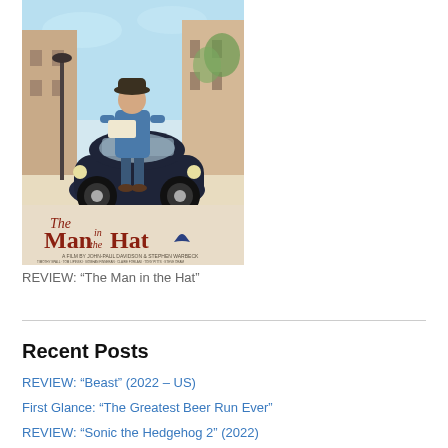[Figure (illustration): Movie poster for 'The Man in the Hat' showing a man in a blue outfit standing in front of a vintage dark blue Fiat 500 car on a European town street. Bold red and brown text reads 'The Man in the Hat' with a small blue hat icon. Credits and cast text appear at the bottom of the poster.]
REVIEW: “The Man in the Hat”
Recent Posts
REVIEW: “Beast” (2022 – US)
First Glance: “The Greatest Beer Run Ever”
REVIEW: “Sonic the Hedgehog 2” (2022)